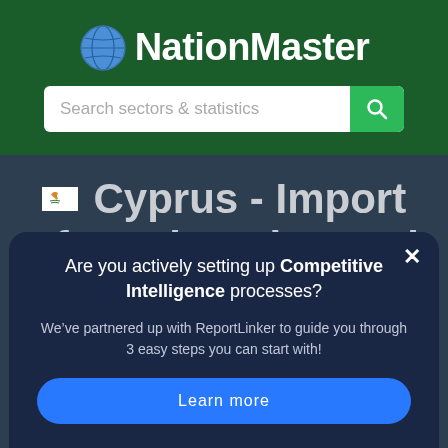NationMaster
Search sectors & statistics
Cyprus - Import of Steel Casing and Tubing of a Kind Used in Drilling for Oil or Gas, Welded, of an External Diameter More
Are you actively setting up Competitive Intelligence processes?
We’ve partnered up with ReportLinker to guide you through 3 easy steps you can start with!
Learn more